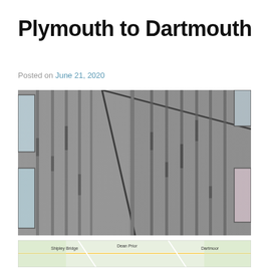Plymouth to Dartmouth
Posted on June 21, 2020
[Figure (photo): Close-up photograph of a brutalist concrete building corner with vertical channel grooves and windows visible on left and right sides]
[Figure (map): Partial map showing Shipley Bridge, Dean Prior, and Dartmoor area]